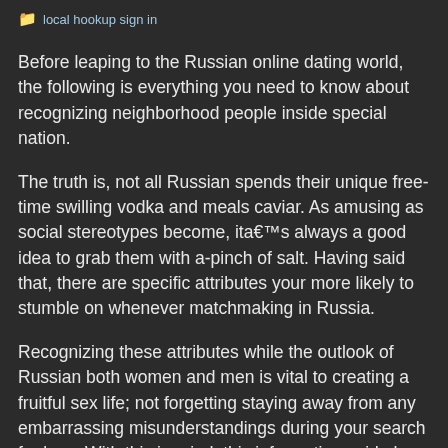local hookup sign in
Before leaping to the Russian online dating world, the following is everything you need to know about recognizing neighborhood people inside special nation.
The truth is, not all Russian spends their unique free-time swilling vodka and meals caviar. As amusing as social stereotypes become, ita€™s always a good idea to grab them with a-pinch of salt. Having said that, there are specific attributes your more likely to stumble on whenever matchmaking in Russia.
Recognizing these attributes while the outlook of Russian both women and men is vital to creating a fruitful sex life; not forgetting staying away from any embarrassing misunderstandings during your search for love. With this in mind, this informative guide has arrived to greatly help by giving the following info: